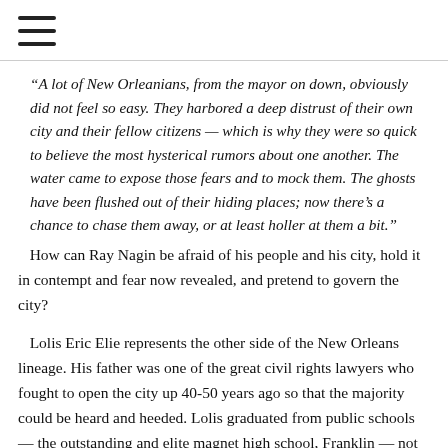≡
“A lot of New Orleanians, from the mayor on down, obviously did not feel so easy. They harbored a deep distrust of their own city and their fellow citizens — which is why they were so quick to believe the most hysterical rumors about one another. The water came to expose those fears and to mock them. The ghosts have been flushed out of their hiding places; now there’s a chance to chase them away, or at least holler at them a bit.”
How can Ray Nagin be afraid of his people and his city, hold it in contempt and fear now revealed, and pretend to govern the city?
Lolis Eric Elie represents the other side of the New Orleans lineage. His father was one of the great civil rights lawyers who fought to open the city up 40-50 years ago so that the majority could be heard and heeded. Lolis graduated from public schools — the outstanding and elite magnet high school, Franklin — not an